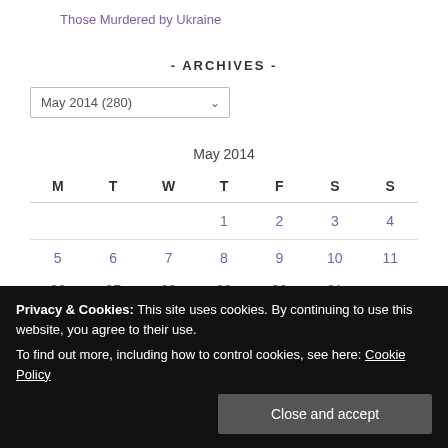Those Murdered by Ukraine
- ARCHIVES -
May 2014 (280)
| M | T | W | T | F | S | S |
| --- | --- | --- | --- | --- | --- | --- |
|  |  |  | 1 | 2 | 3 | 4 |
| 5 | 6 | 7 | 8 | 9 | 10 | 11 |
| 26 | 27 | 28 | 29 | 30 | 31 |  |
Privacy & Cookies: This site uses cookies. By continuing to use this website, you agree to their use.
To find out more, including how to control cookies, see here: Cookie Policy
Close and accept